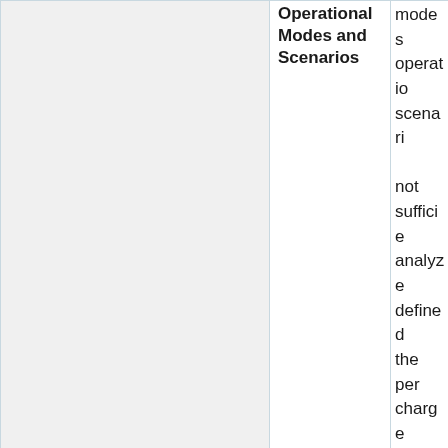|  | Operational Modes and Scenarios |  |
| --- | --- | --- |
|  | Operational Modes and Scenarios | modes operational scenarios not sufficiently analyzed defined the person charge writing system requirements. Those elements allow the structure the system and its early in engineer |